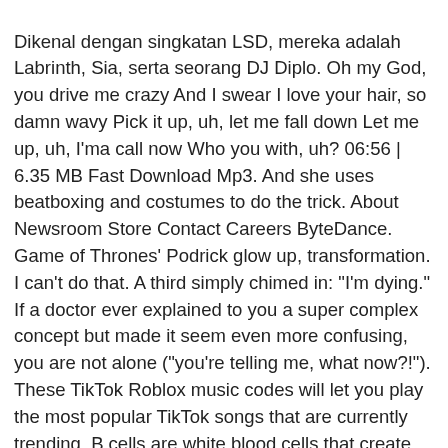Dikenal dengan singkatan LSD, mereka adalah Labrinth, Sia, serta seorang DJ Diplo. Oh my God, you drive me crazy And I swear I love your hair, so damn wavy Pick it up, uh, let me fall down Let me up, uh, I'ma call now Who you with, uh? 06:56 | 6.35 MB Fast Download Mp3. And she uses beatboxing and costumes to do the trick. About Newsroom Store Contact Careers ByteDance. Game of Thrones' Podrick glow up, transformation. I can't do that. A third simply chimed in: "I'm dying." If a doctor ever explained to you a super complex concept but made it seem even more confusing, you are not alone ("you're telling me, what now?!"). These TikTok Roblox music codes will let you play the most popular TikTok songs that are currently trending. B cells are white blood cells that create antibodies, and T cells are another type of white blood cell that help attack infection. Tap it … Find the best place to Oh My God movie songs download list. Listen to Remix songs of Akshay Kumar, Paresh Rawal starrer movie OH MY GOD - OMG!! "Oh my god this is amazing," wrote another "I am